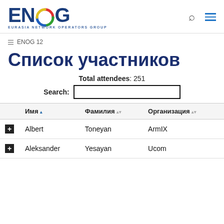ENOG — EURASIA NETWORK OPERATORS GROUP
≡ ENOG 12
Список участников
Total attendees: 251
|  | Имя | Фамилия | Организация |
| --- | --- | --- | --- |
| + | Albert | Toneyan | ArmIX |
| + | Aleksander | Yesayan | Ucom |